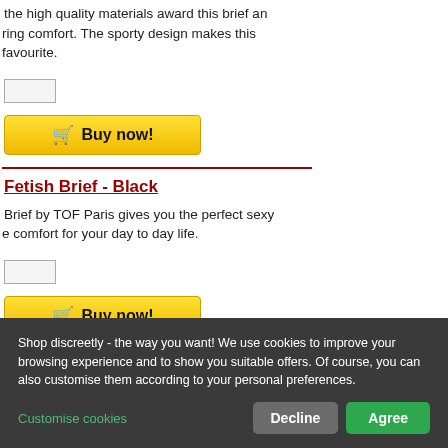the high quality materials award this brief an ring comfort. The sporty design makes this favourite.
[input box]
Buy now!
Fetish Brief - Black
Brief by TOF Paris gives you the perfect sexy e comfort for your day to day life.
[input box]
Buy now!
Shop discreetly - the way you want! We use cookies to improve your browsing experience and to show you suitable offers. Of course, you can also customise them according to your personal preferences.
Customise cookies
Decline
Agree